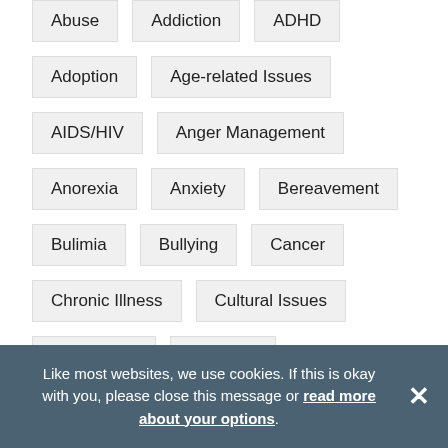Abuse
Addiction
ADHD
Adoption
Age-related Issues
AIDS/HIV
Anger Management
Anorexia
Anxiety
Bereavement
Bulimia
Bullying
Cancer
Chronic Illness
Cultural Issues
Depression
Disability
Domestic Violence
Eating Disorders
Like most websites, we use cookies. If this is okay with you, please close this message or read more about your options.